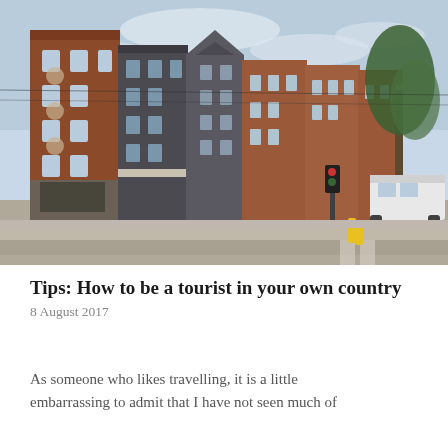[Figure (photo): Street view of Amsterdam-style multi-storey brick buildings along a wide road, with a bus visible on the right, a tree, tram lines, and a cloudy blue sky.]
Tips: How to be a tourist in your own country
8 August 2017
As someone who likes travelling, it is a little embarrassing to admit that I have not seen much of